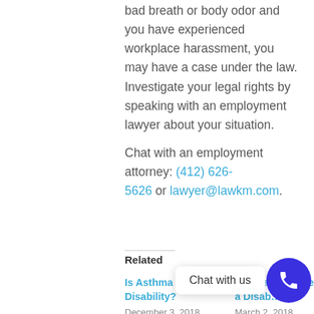bad breath or body odor and you have experienced workplace harassment, you may have a case under the law. Investigate your legal rights by speaking with an employment lawyer about your situation.
Chat with an employment attorney: (412) 626-5626 or lawyer@lawkm.com.
Related
Is Asthma a Disability?
December 3, 2018
In "Updates"
Substance Dependency a Disability?
March 2, 2018
In "Disability"
[Figure (other): Blue circular phone/chat button with white phone icon, and a 'Chat with us' speech bubble overlay]